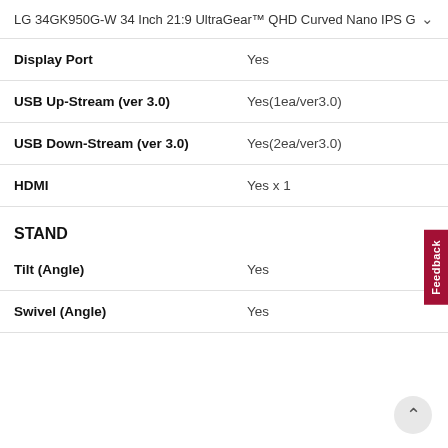LG 34GK950G-W 34 Inch 21:9 UltraGear™ QHD Curved Nano IPS G
| Attribute | Value |
| --- | --- |
| Display Port | Yes |
| USB Up-Stream (ver 3.0) | Yes(1ea/ver3.0) |
| USB Down-Stream (ver 3.0) | Yes(2ea/ver3.0) |
| HDMI | Yes x 1 |
STAND
| Attribute | Value |
| --- | --- |
| Tilt (Angle) | Yes |
| Swivel (Angle) | Yes |